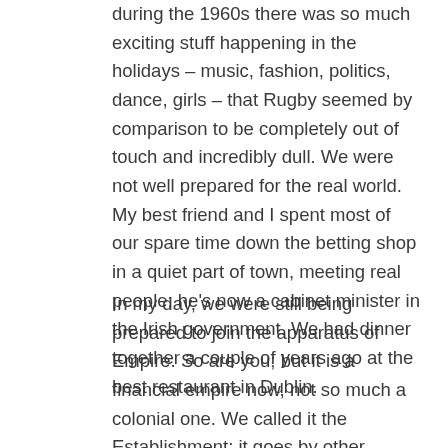during the 1960s there was so much exciting stuff happening in the holidays – music, fashion, politics, dance, girls – that Rugby seemed by comparison to be completely out of touch and incredibly dull. We were not well prepared for the real world. My best friend and I spent most of our spare time down the betting shop in a quiet part of town, meeting real people; he's now a cabinet minister in the Irish government. We had dinner together a couple of years ago at the best restaurant in Dublin.
In my day, we were still being prepared to join the apparatus of Empire. So are you; but it is a financial empire now, not so much a colonial one. We called it the Establishment; it goes by other names now: the Military-Industrial-Complex, Big Business, the Deep State. It's the power elite, the ruling class. Rugby has for